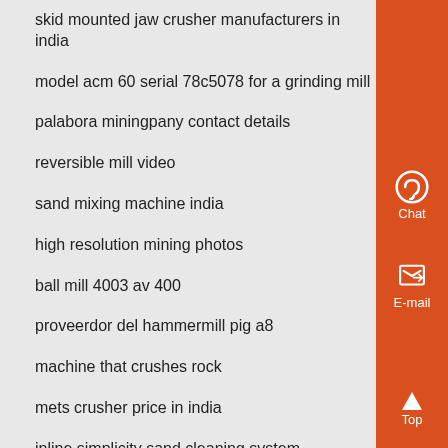skid mounted jaw crusher manufacturers in india
model acm 60 serial 78c5078 for a grinding mill
palabora miningpany contact details
reversible mill video
sand mixing machine india
high resolution mining photos
ball mill 4003 av 400
proveerdor del hammermill pig a8
machine that crushes rock
mets crusher price in india
inline simplicity sand cleaning system